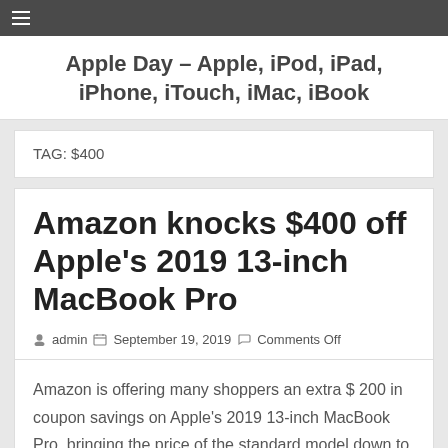Apple Day – Apple, iPod, iPad, iPhone, iTouch, iMac, iBook
TAG: $400
Amazon knocks $400 off Apple's 2019 13-inch MacBook Pro
admin  September 19, 2019  Comments Off
Amazon is offering many shoppers an extra $ 200 in coupon savings on Apple's 2019 13-inch MacBook Pro, bringing the price of the standard model down to $